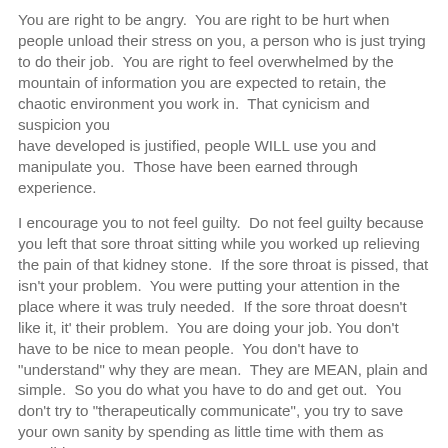You are right to be angry.  You are right to be hurt when people unload their stress on you, a person who is just trying to do their job.  You are right to feel overwhelmed by the mountain of information you are expected to retain, the chaotic environment you work in.  That cynicism and suspicion you have developed is justified, people WILL use you and manipulate you.  Those have been earned through experience.
I encourage you to not feel guilty.  Do not feel guilty because you left that sore throat sitting while you worked up relieving the pain of that kidney stone.  If the sore throat is pissed, that isn't your problem.  You were putting your attention in the place where it was truly needed.  If the sore throat doesn't like it, it' their problem.  You are doing your job. You don't have to be nice to mean people.  You don't have to "understand" why they are mean.  They are MEAN, plain and simple.  So you do what you have to do and get out.  You don't try to "therapeutically communicate", you try to save your own sanity by spending as little time with them as possible.